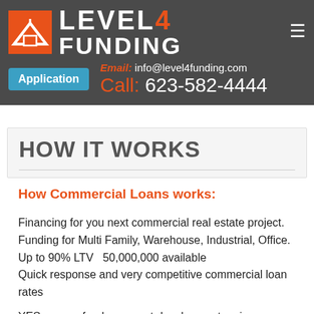[Figure (logo): Level 4 Funding logo with orange house icon and white/orange text on dark gray background]
Email: info@level4funding.com
Application
Call: 623-582-4444
HOW IT WORKS
How Commercial Loans works:
Financing for you next commercial real estate project.
Funding for Multi Family, Warehouse, Industrial, Office.
Up to 90% LTV  50,000,000 available
Quick response and very competitive commercial loan rates
YES we can fund your next development – give us a call to start.
BENEFITS OF COMMERCIAL